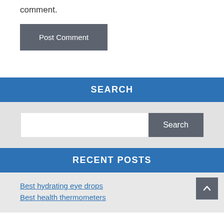comment.
Post Comment
SEARCH
Search
RECENT POSTS
Best hydrating eye drops
Best health thermometers